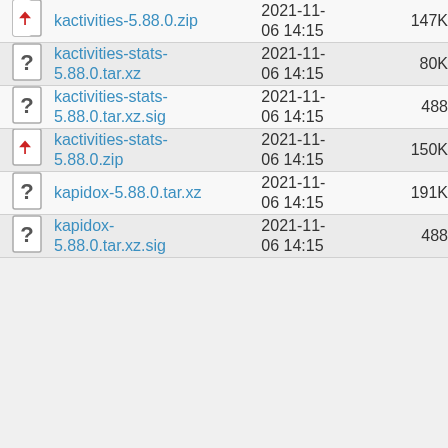| Icon | Name | Date | Size |
| --- | --- | --- | --- |
| zip-icon | kactivities-5.88.0.zip | 2021-11-06 14:15 | 147K |
| unk-icon | kactivities-stats-5.88.0.tar.xz | 2021-11-06 14:15 | 80K |
| unk-icon | kactivities-stats-5.88.0.tar.xz.sig | 2021-11-06 14:15 | 488 |
| zip-icon | kactivities-stats-5.88.0.zip | 2021-11-06 14:15 | 150K |
| unk-icon | kapidox-5.88.0.tar.xz | 2021-11-06 14:15 | 191K |
| unk-icon | kapidox-5.88.0.tar.xz.sig | 2021-11-06 14:15 | 488 |